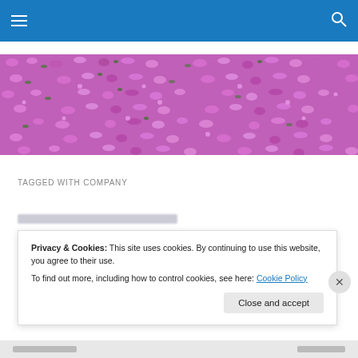Navigation bar with hamburger menu and search icon
[Figure (photo): Close-up photograph of dense purple/pink small star-shaped flowers covering entire frame]
TAGGED WITH COMPANY
Privacy & Cookies: This site uses cookies. By continuing to use this website, you agree to their use.
To find out more, including how to control cookies, see here: Cookie Policy
Close and accept